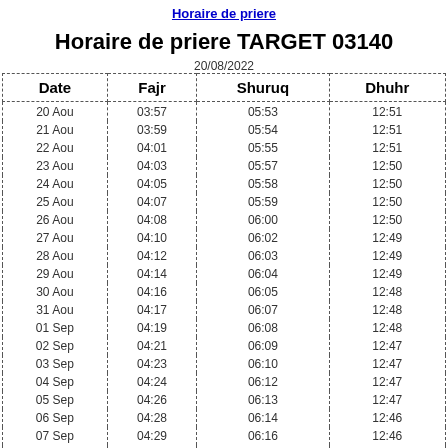Horaire de priere
Horaire de priere TARGET 03140
20/08/2022
| Date | Fajr | Shuruq | Dhuhr |
| --- | --- | --- | --- |
| 20 Aou | 03:57 | 05:53 | 12:51 |
| 21 Aou | 03:59 | 05:54 | 12:51 |
| 22 Aou | 04:01 | 05:55 | 12:51 |
| 23 Aou | 04:03 | 05:57 | 12:50 |
| 24 Aou | 04:05 | 05:58 | 12:50 |
| 25 Aou | 04:07 | 05:59 | 12:50 |
| 26 Aou | 04:08 | 06:00 | 12:50 |
| 27 Aou | 04:10 | 06:02 | 12:49 |
| 28 Aou | 04:12 | 06:03 | 12:49 |
| 29 Aou | 04:14 | 06:04 | 12:49 |
| 30 Aou | 04:16 | 06:05 | 12:48 |
| 31 Aou | 04:17 | 06:07 | 12:48 |
| 01 Sep | 04:19 | 06:08 | 12:48 |
| 02 Sep | 04:21 | 06:09 | 12:47 |
| 03 Sep | 04:23 | 06:10 | 12:47 |
| 04 Sep | 04:24 | 06:12 | 12:47 |
| 05 Sep | 04:26 | 06:13 | 12:47 |
| 06 Sep | 04:28 | 06:14 | 12:46 |
| 07 Sep | 04:29 | 06:16 | 12:46 |
| 08 Sep | 04:31 | 06:17 | 12:45 |
| 09 Sep | 04:33 | 06:18 | 12:45 |
| 10 Sep | 04:34 | 06:19 | 12:45 |
| 11 Sep | 04:36 | 06:21 | 12:44 |
| 12 Sep | 04:37 | 06:22 | 12:44 |